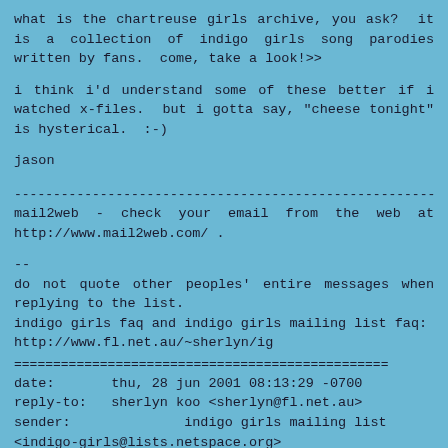what is the chartreuse girls archive, you ask?  it is a collection of indigo girls song parodies written by fans.  come, take a look!>>
i think i'd understand some of these better if i watched x-files.  but i gotta say, "cheese tonight" is hysterical.  :-)
jason
------------------------------------------------------------------------
mail2web - check your email from the web at http://www.mail2web.com/ .
--
do not quote other peoples' entire messages when replying to the list.
indigo girls faq and indigo girls mailing list faq:
http://www.fl.net.au/~sherlyn/ig
================================================================
date:       thu, 28 jun 2001 08:13:29 -0700
reply-to:   sherlyn koo <sherlyn@fl.net.au>
sender:              indigo girls mailing list <indigo-girls@lists.netspace.org>
from:       sherlyn koo <sherlyn@fl.net.au>